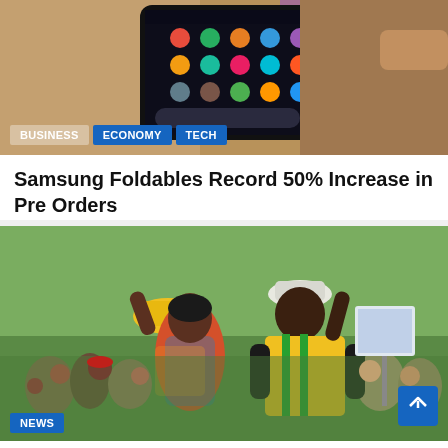[Figure (photo): Hands holding a smartphone showing app icons, with category tags BUSINESS, ECONOMY, TECH overlaid at bottom left]
Samsung Foldables Record 50% Increase in Pre Orders
6 hours ago   times
[Figure (photo): Two people waving to a crowd at a political rally, one in yellow/green vest with white cap, other in colorful African print dress raising a yellow hat. NEWS tag at bottom left.]
UDA allies Welcome Supreme Court Verdict,